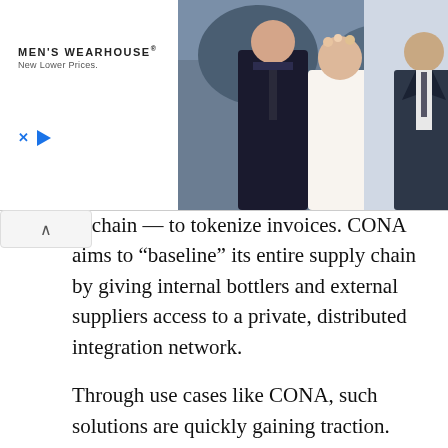[Figure (photo): Men's Wearhouse advertisement banner showing a couple in wedding attire (man in dark suit, woman in white dress) and a separate image of a man in a dark suit. Text reads 'MEN'S WEARHOUSE New Lower Prices' with close and play buttons.]
ckchain — to tokenize invoices. CONA aims to “baseline” its entire supply chain by giving internal bottlers and external suppliers access to a private, distributed integration network.
Through use cases like CONA, such solutions are quickly gaining traction. There are also a number of vendors entering this infrastructure market including Provide, an enterprise middleware provider, and Big Four firm Ernst & Young. Most recently, ConsenSys — one of the leading blockchain software companies